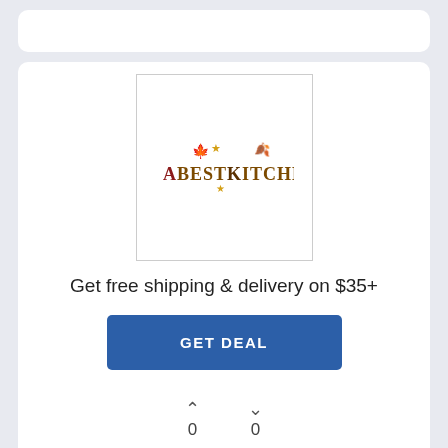[Figure (logo): AbestKitchen logo with autumn leaf decorations on white background]
Get free shipping & delivery on $35+
GET DEAL
0
0
[Figure (illustration): Blue flag with white stars and red stripe at bottom, partially visible]